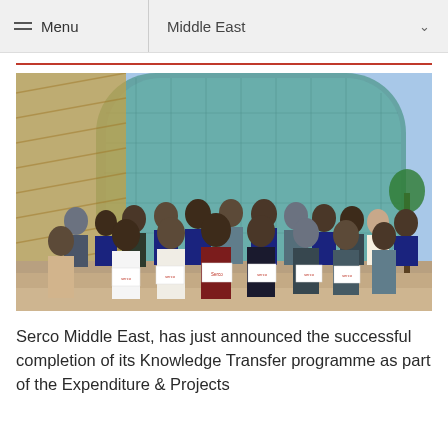Menu  Middle East
[Figure (photo): Group of approximately 25 men posing on steps in front of a large modern glass building. Several individuals in the front rows are holding white signs with the Serco logo. The group includes people in business attire and traditional Gulf Arab dress. Background shows a tall curved glass-and-gold architectural facade under a blue sky.]
Serco Middle East, has just announced the successful completion of its Knowledge Transfer programme as part of the Expenditure & Projects